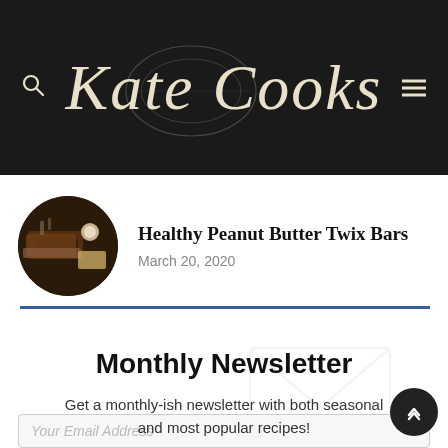Kate Cooks
Healthy Peanut Butter Twix Bars
March 20, 2020
Monthly Newsletter
Get a monthly-ish newsletter with both seasonal and most popular recipes!
Your Email Address